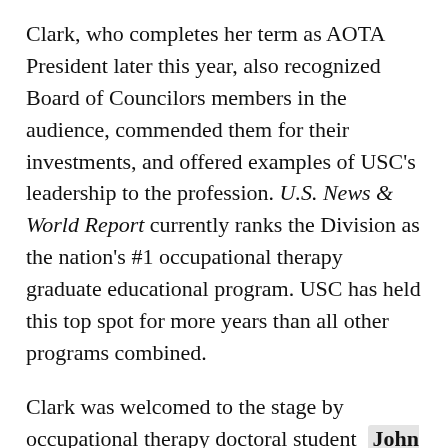Clark, who completes her term as AOTA President later this year, also recognized Board of Councilors members in the audience, commended them for their investments, and offered examples of USC's leadership to the profession. U.S. News & World Report currently ranks the Division as the nation's #1 occupational therapy graduate educational program. USC has held this top spot for more years than all other programs combined.
Clark was welcomed to the stage by occupational therapy doctoral student John Lien Margetis BS '11, MA '12, who spoke about his personal experiences of occupational therapy.
“Occupational therapy helped me learn how to talk about my disability in a way that made sense to me, as a child